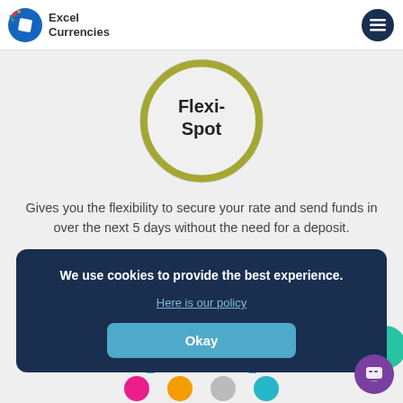turnaround time for this is usually between 30 mins - 2...
[Figure (logo): Excel Currencies logo with blue circular icon and text]
[Figure (illustration): Flexi-Spot circle with olive/green ring border and bold text 'Flexi-Spot' in center]
Gives you the flexibility to secure your rate and send funds in over the next 5 days without the need for a deposit.
[Figure (illustration): Forward circle with teal/blue ring border and partially visible text 'Forward']
We use cookies to provide the best experience.
Here is our policy
Okay